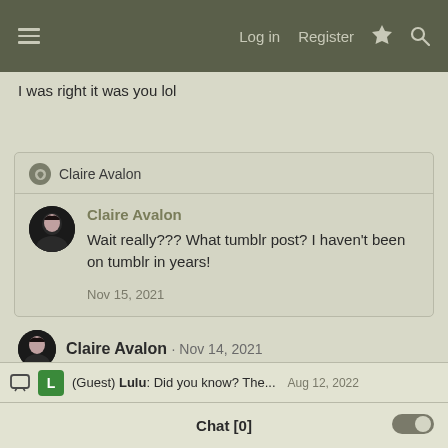Log in  Register
I was right it was you lol
Claire Avalon
Claire Avalon
Wait really??? What tumblr post? I haven't been on tumblr in years!
Nov 15, 2021
Claire Avalon · Nov 14, 2021
Currently lost in research for my next profiling article: Felons, Femininity, and Father Figures. what Carmen Sandiego's search for
(Guest) Lulu: Did you know? The...  Aug 12, 2022  Chat [0]